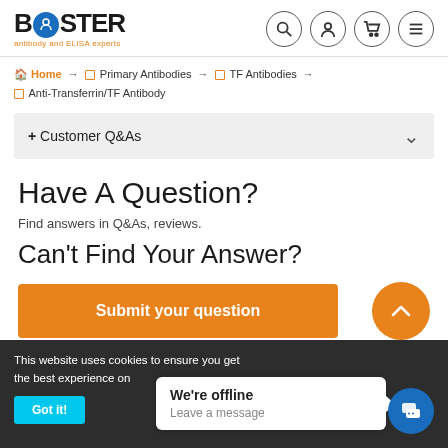BOSTER antibody and ELISA experts — navigation icons: search, account, cart, menu
Home → Primary Antibodies → TF Antibodies → Anti-Transferrin/TF Antibody
+ Customer Q&As
Have A Question?
Find answers in Q&As, reviews.
Can't Find Your Answer?
Submit your question
This website uses cookies to ensure you get the best experience on
Got it!
We're offline
Leave a message